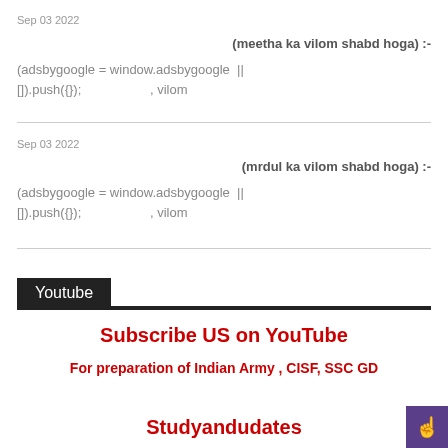Sep 03 2022
(meetha ka vilom shabd hoga) :-
(adsbygoogle = window.adsbygoogle || []).push({});                    , vilom
Sep 03 2022
(mrdul ka vilom shabd hoga) :-
(adsbygoogle = window.adsbygoogle || []).push({});                    , vilom
Youtube
Subscribe US on YouTube
For preparation of Indian Army , CISF, SSC GD
Studyandudates